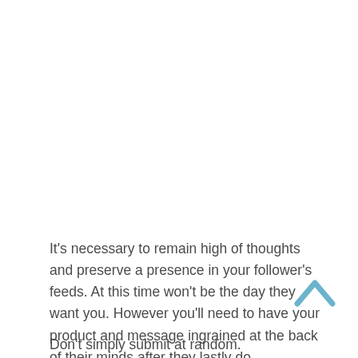It's necessary to remain high of thoughts and preserve a presence in your follower's feeds. At this time won't be the day they want you. However you'll need to have your product and message ingrained at the back of their minds after they lastly do.
Don't simply submit at random.